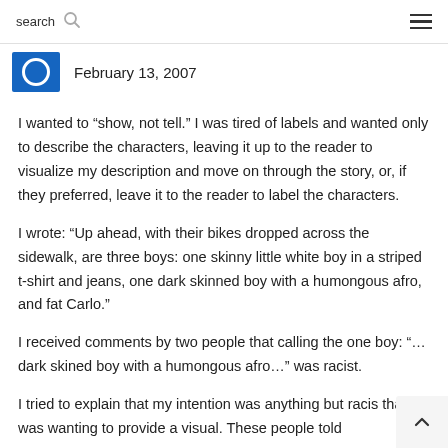search
February 13, 2007
I wanted to “show, not tell.” I was tired of labels and wanted only to describe the characters, leaving it up to the reader to visualize my description and move on through the story, or, if they preferred, leave it to the reader to label the characters.
I wrote: “Up ahead, with their bikes dropped across the sidewalk, are three boys: one skinny little white boy in a striped t-shirt and jeans, one dark skinned boy with a humongous afro, and fat Carlo.”
I received comments by two people that calling the one boy: “…dark skined boy with a humongous afro…” was racist.
I tried to explain that my intention was anything but racist that I was wanting to provide a visual. These people told